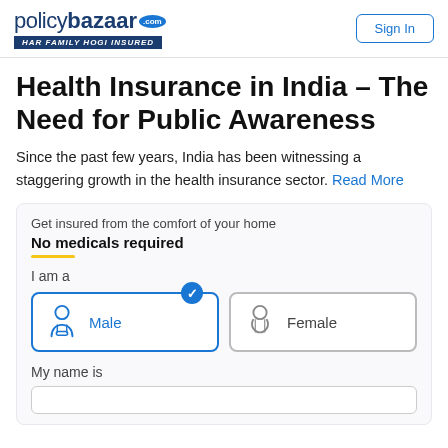policybazaar.com HAR FAMILY HOGI INSURED | Sign In
Health Insurance in India – The Need for Public Awareness
Since the past few years, India has been witnessing a staggering growth in the health insurance sector. Read More
Get insured from the comfort of your home
No medicals required
I am a
[Figure (illustration): Gender selection buttons: Male (selected with blue checkmark) and Female]
My name is
[Figure (screenshot): Empty text input field for name]